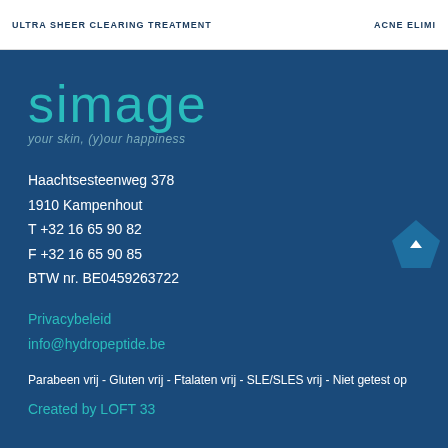ULTRA SHEER CLEARING TREATMENT   ACNE ELIMI
[Figure (logo): Simage logo with teal text 'simage' and tagline 'your skin, (y)our happiness']
Haachtsesteenweg 378
1910 Kampenhout
T +32 16 65 90 82
F +32 16 65 90 85
BTW nr. BE0459263722
Privacybeleid
info@hydropeptide.be
Parabeen vrij - Gluten vrij - Ftalaten vrij - SLE/SLES vrij - Niet getest op
Created by LOFT 33